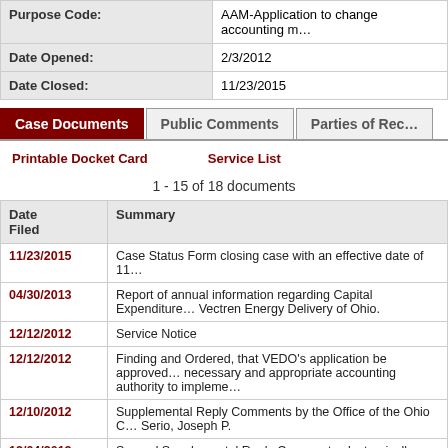|  |  |
| --- | --- |
| Purpose Code: | AAM-Application to change accounting m… |
| Date Opened: | 2/3/2012 |
| Date Closed: | 11/23/2015 |
Case Documents | Public Comments | Parties of Rec…
Printable Docket Card   Service List
1 - 15 of 18 documents
| Date Filed | Summary |
| --- | --- |
| 11/23/2015 | Case Status Form closing case with an effective date of 11… |
| 04/30/2013 | Report of annual information regarding Capital Expenditure… Vectren Energy Delivery of Ohio. |
| 12/12/2012 | Service Notice |
| 12/12/2012 | Finding and Ordered, that VEDO's application be approved… necessary and appropriate accounting authority to impleme… |
| 12/10/2012 | Supplemental Reply Comments by the Office of the Ohio C… Serio, Joseph P. |
| 12/04/2012 | Second Supplemental Reply Comments electronically filed… |